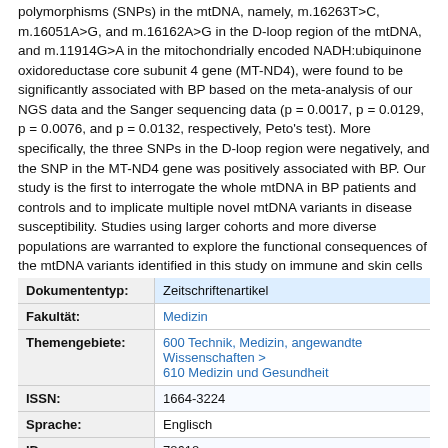polymorphisms (SNPs) in the mtDNA, namely, m.16263T>C, m.16051A>G, and m.16162A>G in the D-loop region of the mtDNA, and m.11914G>A in the mitochondrially encoded NADH:ubiquinone oxidoreductase core subunit 4 gene (MT-ND4), were found to be significantly associated with BP based on the meta-analysis of our NGS data and the Sanger sequencing data (p = 0.0017, p = 0.0129, p = 0.0076, and p = 0.0132, respectively, Peto's test). More specifically, the three SNPs in the D-loop region were negatively, and the SNP in the MT-ND4 gene was positively associated with BP. Our study is the first to interrogate the whole mtDNA in BP patients and controls and to implicate multiple novel mtDNA variants in disease susceptibility. Studies using larger cohorts and more diverse populations are warranted to explore the functional consequences of the mtDNA variants identified in this study on immune and skin cells to understand their contributions to BP pathology.
| Field | Value |
| --- | --- |
| Dokumententyp: | Zeitschriftenartikel |
| Fakultät: | Medizin |
| Themengebiete: | 600 Technik, Medizin, angewandte Wissenschaften > 610 Medizin und Gesundheit |
| ISSN: | 1664-3224 |
| Sprache: | Englisch |
| ID: | 78618 |
| Veröffentlicht am: | 15. Dez. 2021 14:44 |